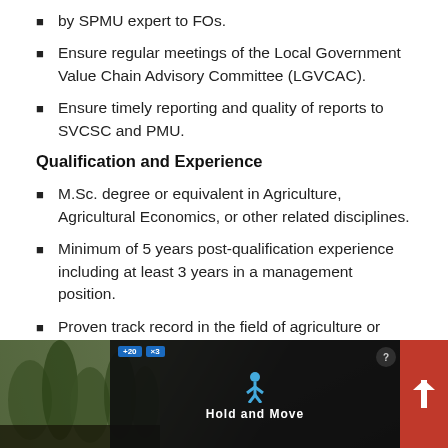by SPMU expert to FOs.
Ensure regular meetings of the Local Government Value Chain Advisory Committee (LGVCAC).
Ensure timely reporting and quality of reports to SVCSC and PMU.
Qualification and Experience
M.Sc. degree or equivalent in Agriculture, Agricultural Economics, or other related disciplines.
Minimum of 5 years post-qualification experience including at least 3 years in a management position.
Proven track record in the field of agriculture or rural development.
Good writing skills and computer literacy will be an
[Figure (screenshot): Advertisement banner at bottom of page showing 'Hold and Move' app/game with dark background, trees, and gaming UI elements including close button and navigation button.]